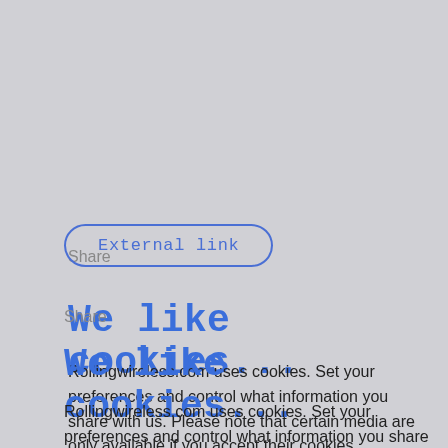[Figure (other): A rounded pill-shaped button with blue outline and blue monospace text reading 'External link']
Share
We like cookies...
Rollingwireless.com uses cookies. Set your preferences and control what information you share with us. Please note that certain media are only available if you accept their cookies. Rollingwireless.com stores your cookie preferences. You can manage them via cookies. Want to know more? See our Cookie policy...